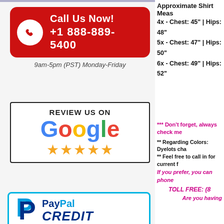Approximate Shirt Meas... 4x - Chest: 45" | Hips: 48" 5x - Chest: 47" | Hips: 50" 6x - Chest: 49" | Hips: 52"
[Figure (infographic): Call Us Now! +1 888-889-5400 banner with phone icon on red background]
9am-5pm (PST) Monday-Friday
[Figure (infographic): Review Us On Google box with 5 gold stars]
[Figure (logo): PayPal CREDIT logo in cyan bordered box]
*** Don't forget, always check me...
** Regarding Colors: Dyelots cha... ** Feel free to call in for current f...
If you prefer, you can phone...
TOLL FREE: (8...
Are you having...
[Figure (photo): Promotional image on purple background with decorative elements]